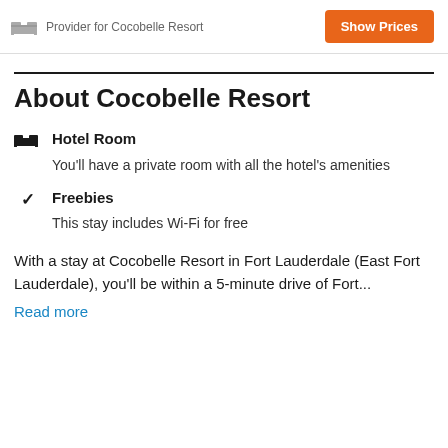Provider for Cocobelle Resort  Show Prices
About Cocobelle Resort
Hotel Room – You'll have a private room with all the hotel's amenities
Freebies – This stay includes Wi-Fi for free
With a stay at Cocobelle Resort in Fort Lauderdale (East Fort Lauderdale), you'll be within a 5-minute drive of Fort...
Read more